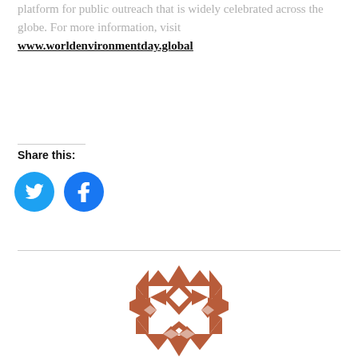platform for public outreach that is widely celebrated across the globe. For more information, visit
www.worldenvironmentday.global
Share this:
[Figure (illustration): Twitter bird icon in a solid blue circle]
[Figure (illustration): Facebook 'f' icon in a solid blue circle]
[Figure (logo): Geometric patterned circular logo in terracotta/rust brown and white, made of triangles and diamond shapes]